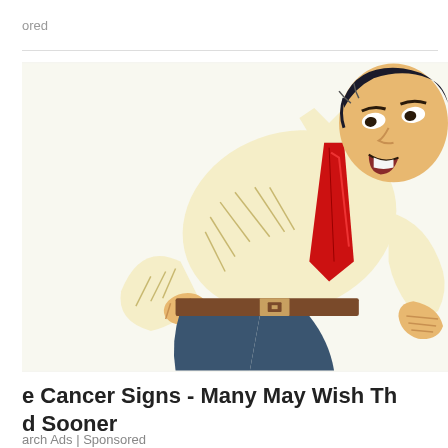ored
[Figure (illustration): Pop-art style comic illustration of a man in a white shirt and red tie bent over in pain, grabbing his lower back]
e Cancer Signs - Many May Wish They'd Sooner
arch Ads | Sponsored